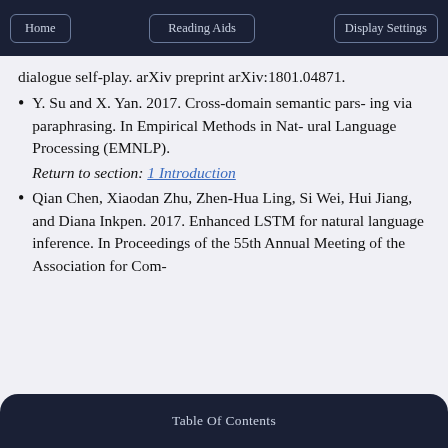Home | Reading Aids | Display Settings
dialogue self-play. arXiv preprint arXiv:1801.04871.
Y. Su and X. Yan. 2017. Cross-domain semantic pars- ing via paraphrasing. In Empirical Methods in Nat- ural Language Processing (EMNLP). Return to section: 1 Introduction
Qian Chen, Xiaodan Zhu, Zhen-Hua Ling, Si Wei, Hui Jiang, and Diana Inkpen. 2017. Enhanced LSTM for natural language inference. In Proceedings of the 55th Annual Meeting of the Association for Com-
Table Of Contents